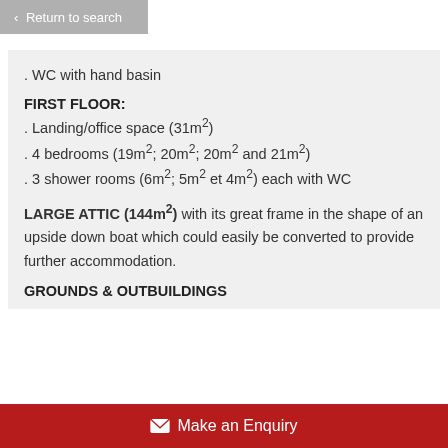< Return to search
. WC with hand basin
FIRST FLOOR:
. Landing/office space (31m²)
. 4 bedrooms (19m²; 20m²; 20m² and 21m²)
. 3 shower rooms (6m²; 5m² et 4m²) each with WC
LARGE ATTIC (144m²) with its great frame in the shape of an upside down boat which could easily be converted to provide further accommodation.
GROUNDS & OUTBUILDINGS
✉ Make an Enquiry